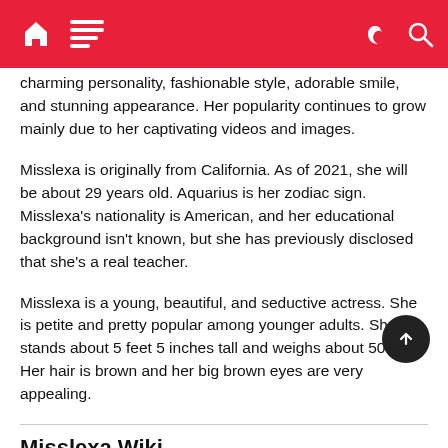[Navigation bar with home, menu, dark mode, and search icons]
charming personality, fashionable style, adorable smile, and stunning appearance. Her popularity continues to grow mainly due to her captivating videos and images.
Misslexa is originally from California. As of 2021, she will be about 29 years old. Aquarius is her zodiac sign. Misslexa's nationality is American, and her educational background isn't known, but she has previously disclosed that she's a real teacher.
Misslexa is a young, beautiful, and seductive actress. She is petite and pretty popular among younger adults. She stands about 5 feet 5 inches tall and weighs about 50 kg. Her hair is brown and her big brown eyes are very appealing.
Misslexa Wiki
| Relationship status | Open |
| --- | --- |